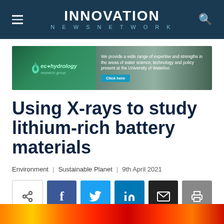INNOVATION NEWS NETWORK
[Figure (photo): Ecohydrology Research Group advertisement banner with forest and water background]
Using X-rays to study lithium-rich battery materials
Environment | Sustainable Planet | 9th April 2021
[Figure (infographic): Social share buttons: share, Facebook, Twitter, LinkedIn, email, print]
[Figure (photo): Abstract image with warm gradient colors (orange, yellow, red)]